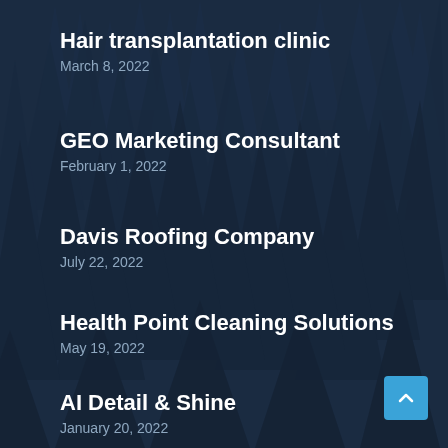Hair transplantation clinic
March 8, 2022
GEO Marketing Consultant
February 1, 2022
Davis Roofing Company
July 22, 2022
Health Point Cleaning Solutions
May 19, 2022
AI Detail & Shine
January 20, 2022